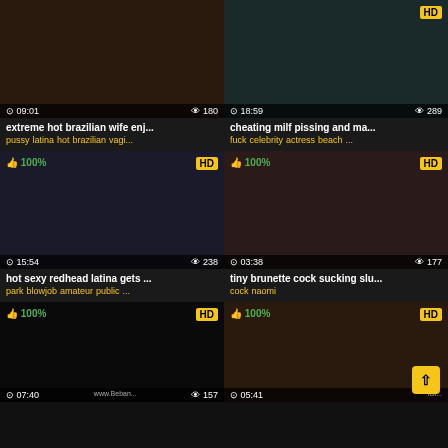[Figure (screenshot): Video thumbnail grid showing 6 adult video thumbnails with titles, tags, duration and view counts]
extreme hot brazilian wife enj...
pussy latina hot brazilian vagi...
cheating milf pissing and ma...
fuck celebrity actress beach ...
hot sexy redhead latina gets ...
park blowjob amateur public ...
tiny brunette cock sucking slu...
cock naomi